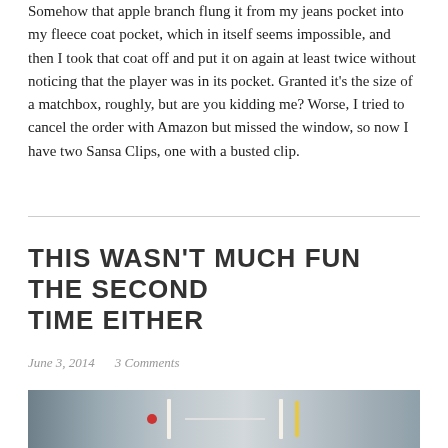Somehow that apple branch flung it from my jeans pocket into my fleece coat pocket, which in itself seems impossible, and then I took that coat off and put it on again at least twice without noticing that the player was in its pocket. Granted it's the size of a matchbox, roughly, but are you kidding me? Worse, I tried to cancel the order with Amazon but missed the window, so now I have two Sansa Clips, one with a busted clip.
THIS WASN'T MUCH FUN THE SECOND TIME EITHER
June 3, 2014   3 Comments
[Figure (photo): Partial photo visible at bottom of page, appears to show some kind of equipment or tools in a light-colored setting.]